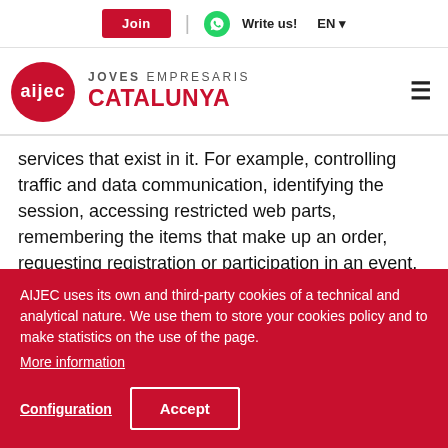Join | Write us! EN
[Figure (logo): AIJEC - Joves Empresaris Catalunya logo with red oval containing white 'aijec' text]
services that exist in it. For example, controlling traffic and data communication, identifying the session, accessing restricted web parts, remembering the items that make up an order, requesting registration or participation in an event, using items security while browsing and storing content for streaming video or sound.
AIJEC uses its own and third-party cookies of a technical and analytical nature. We use them to store your cookies policy and to make statistics on the use of the page.
More information
Configuration
Accept